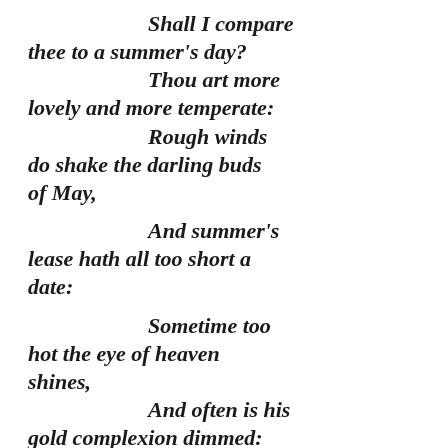Shall I compare thee to a summer's day? Thou art more lovely and more temperate: Rough winds do shake the darling buds of May, And summer's lease hath all too short a date: Sometime too hot the eye of heaven shines, And often is his gold complexion dimmed: And every fair from fair sometimes declines, By chance, or